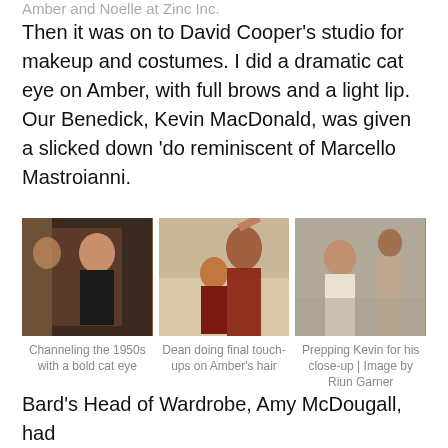Amber and Noelle at Zinc Inc.
Then it was on to David Cooper's studio for makeup and costumes. I did a dramatic cat eye on Amber, with full brows and a light lip. Our Benedick, Kevin MacDonald, was given a slicked down 'do reminiscent of Marcello Mastroianni.
[Figure (photo): Three side-by-side photos: left shows a woman in a black dress getting hair styled; center shows a man getting hairspray applied by a woman with red hair; right shows a young man getting makeup applied in a mirror room.]
Channeling the 1950s with a bold cat eye
Dean doing final touch-ups on Amber's hair
Prepping Kevin for his close-up | Image by Riun Garner
Bard's Head of Wardrobe, Amy McDougall, had